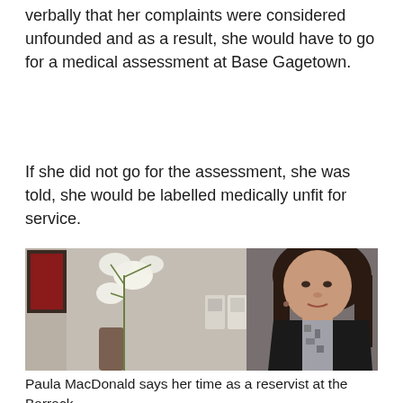verbally that her complaints were considered unfounded and as a result, she would have to go for a medical assessment at Base Gagetown.
If she did not go for the assessment, she was told, she would be labelled medically unfit for service.
[Figure (photo): A woman with dark brown hair sitting indoors in front of a plant with white flowers and a framed picture on the wall. She is wearing a black blazer over a patterned top.]
Paula MacDonald says her time as a reservist at the Barrack